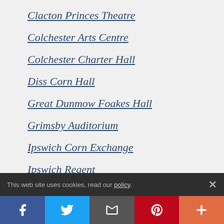Clacton Princes Theatre
Colchester Arts Centre
Colchester Charter Hall
Diss Corn Hall
Great Dunmow Foakes Hall
Grimsby Auditorium
Ipswich Corn Exchange
Ipswich Regent
This web site uses cookies, read our policy.